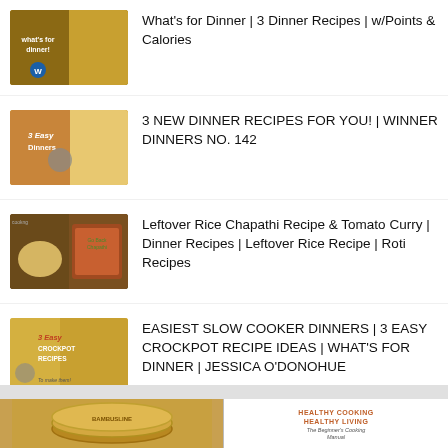What's for Dinner | 3 Dinner Recipes | w/Points & Calories
3 NEW DINNER RECIPES FOR YOU! | WINNER DINNERS NO. 142
Leftover Rice Chapathi Recipe & Tomato Curry | Dinner Recipes | Leftover Rice Recipe | Roti Recipes
EASIEST SLOW COOKER DINNERS | 3 EASY CROCKPOT RECIPE IDEAS | WHAT'S FOR DINNER | JESSICA O'DONOHUE
[Figure (photo): Bamboo steamer basket thumbnail]
[Figure (photo): Healthy Cooking Healthy Living book cover thumbnail]